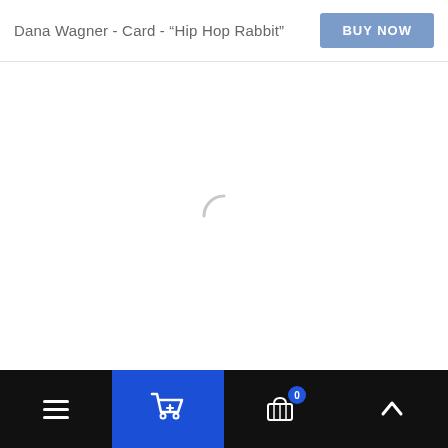Dana Wagner - Card - "Hip Hop Rabbit"
[Figure (other): Loading spinner — a grey partial circle arc indicating content is loading]
Navigation bar with hamburger menu, shopping cart (active, blue background), cart with badge count 0, and up arrow